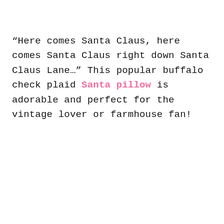“Here comes Santa Claus, here comes Santa Claus right down Santa Claus Lane…” This popular buffalo check plaid Santa pillow is adorable and perfect for the vintage lover or farmhouse fan!